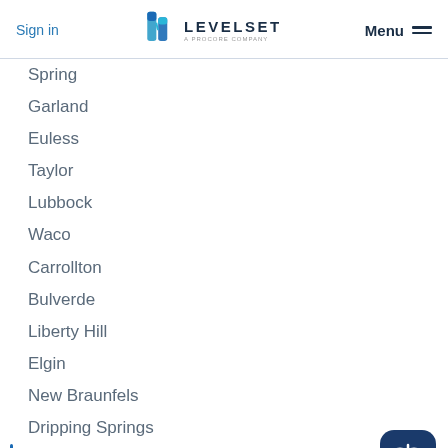Sign in | LEVELSET A PROCORE COMPANY | Menu
Spring
Garland
Euless
Taylor
Lubbock
Waco
Carrollton
Bulverde
Liberty Hill
Elgin
New Braunfels
Dripping Springs
Bastrop ✕